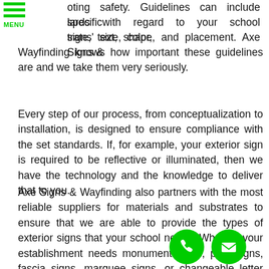[Figure (other): Green hamburger menu icon with three horizontal green bars and MENU label in green]
oting safety. Guidelines can include specific lards with regard to your school signs' size, color, trate, text, shape, and placement. Axe Signs & Wayfinding knows how important these guidelines are and we take them very seriously.
Every step of our process, from conceptualization to installation, is designed to ensure compliance with the set standards. If, for example, your exterior sign is required to be reflective or illuminated, then we have the technology and the knowledge to deliver that to you.
Axe Signs & Wayfinding also partners with the most reliable suppliers for materials and substrates to ensure that we are able to provide the types of exterior signs that your school needs. Whether your establishment needs monument signs, pole signs, fascia signs, marquee signs, or changeable letter signs, we can provide you ones that serve their exact purpose and are also tough enough to stand against the everyday outdoor eleme
[Figure (other): Green circular phone call button icon at bottom right]
[Figure (other): Green circular email/envelope button icon at bottom right]